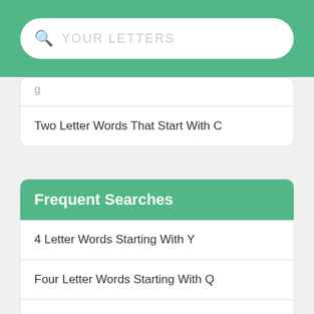[Figure (screenshot): Search bar with magnifying glass icon and placeholder text 'YOUR LETTERS' on a green background]
Two Letter Words That Start With C
Frequent Searches
4 Letter Words Starting With Y
Four Letter Words Starting With Q
Words With T And W
Words With Que
Words That Begin With Nu